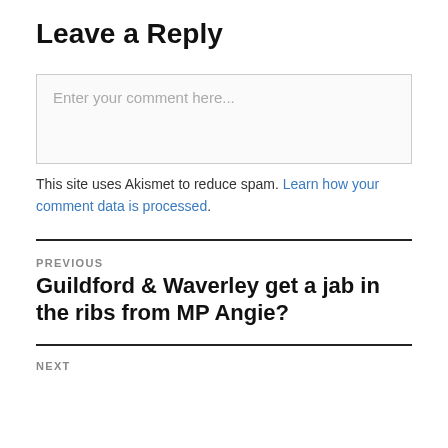Leave a Reply
Enter your comment here...
This site uses Akismet to reduce spam. Learn how your comment data is processed.
PREVIOUS
Guildford & Waverley get a jab in the ribs from MP Angie?
NEXT